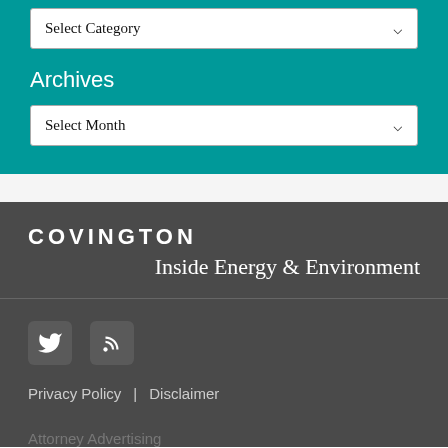Select Category
Archives
Select Month
COVINGTON Inside Energy & Environment
[Figure (logo): Twitter bird icon and RSS feed icon in grey boxes]
Privacy Policy | Disclaimer
Attorney Advertising